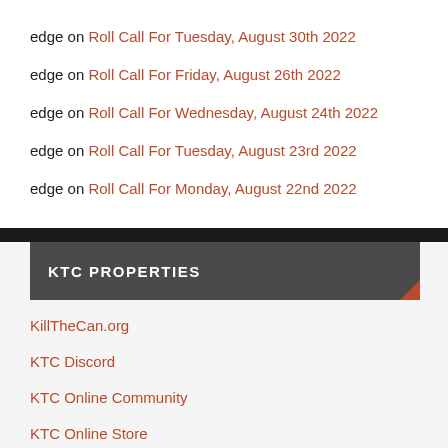edge on Roll Call For Tuesday, August 30th 2022
edge on Roll Call For Friday, August 26th 2022
edge on Roll Call For Wednesday, August 24th 2022
edge on Roll Call For Tuesday, August 23rd 2022
edge on Roll Call For Monday, August 22nd 2022
KTC PROPERTIES
KillTheCan.org
KTC Discord
KTC Online Community
KTC Online Store
Live Quit Chat